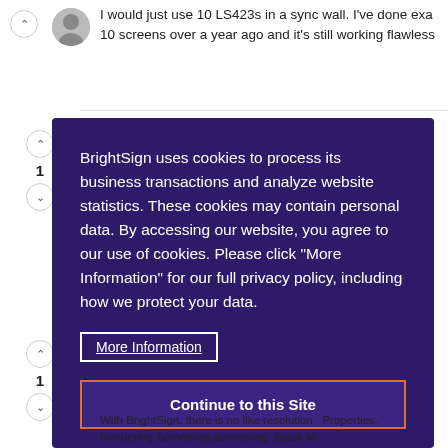I would just use 10 LS423s in a sync wall. I've done exa... 10 screens over a year ago and it's still working flawless...
BrightSign uses cookies to process its business transactions and analyze website statistics. These cookies may contain personal data. By accessing our website, you agree to our use of cookies. Please click "More Information" for our full privacy policy, including how we protect your data.
More Information
Continue to this Site
With BrightSign, there is no like resolution Properties, Rendering Something something Stack Mi...